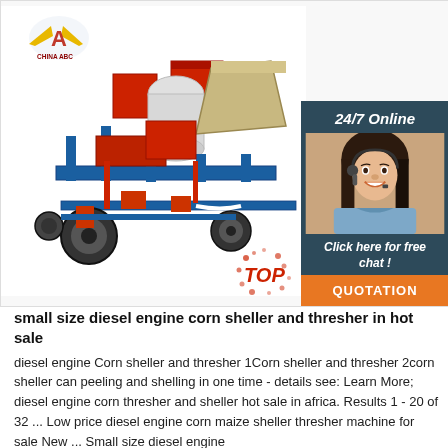[Figure (photo): Product image of a small size diesel engine corn sheller and thresher machine, with red and blue metal frame. Company logo (letter A with wings) visible top-left. Overlaid chat widget on the right side: '24/7 Online' label, photo of a smiling woman with headset, 'Click here for free chat!' text, and orange QUOTATION button. A red 'TOP' splash badge visible bottom-right of the main image.]
small size diesel engine corn sheller and thresher in hot sale
diesel engine Corn sheller and thresher 1Corn sheller and thresher 2corn sheller can peeling and shelling in one time - details see: Learn More; diesel engine corn thresher and sheller hot sale in africa. Results 1 - 20 of 32 ... Low price diesel engine corn maize sheller thresher machine for sale New ... Small size diesel engine